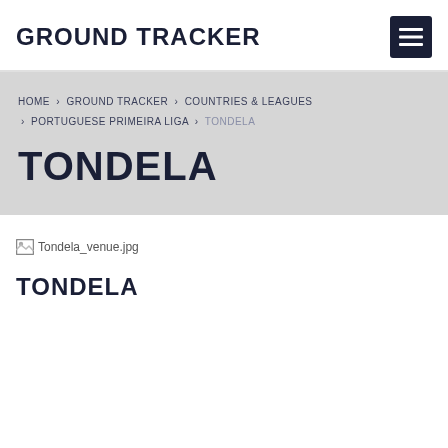GROUND TRACKER
HOME › GROUND TRACKER › COUNTRIES & LEAGUES › PORTUGUESE PRIMEIRA LIGA › TONDELA
TONDELA
[Figure (photo): Broken image placeholder for Tondela_venue.jpg]
TONDELA